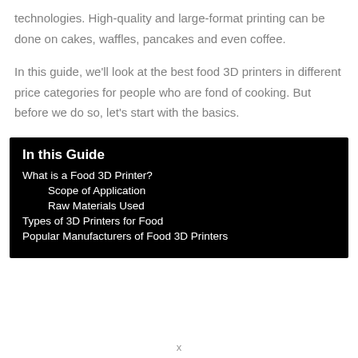technologies. High-quality and large-format printing can be done on cakes, waffles, pancakes and even coffee.
In this guide, we'll look at the best food 3D printers in different price categories for people who are fond of cooking. But before we do so, let's start with the basics.
In this Guide
What is a Food 3D Printer?
Scope of Application
Raw Materials Used
Types of 3D Printers for Food
Popular Manufacturers of Food 3D Printers
x